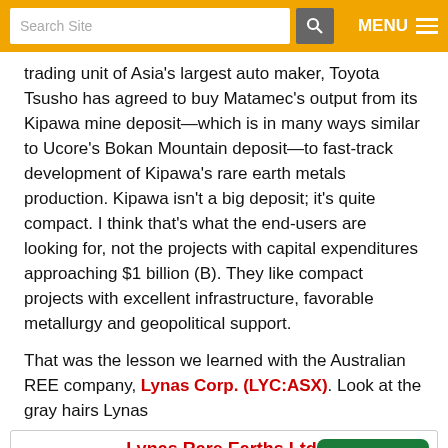Search Site | MENU
trading unit of Asia's largest auto maker, Toyota Tsusho has agreed to buy Matamec's output from its Kipawa mine deposit—which is in many ways similar to Ucore's Bokan Mountain deposit—to fast-track development of Kipawa's rare earth metals production. Kipawa isn't a big deposit; it's quite compact. I think that's what the end-users are looking for, not the projects with capital expenditures approaching $1 billion (B). They like compact projects with excellent infrastructure, favorable metallurgy and geopolitical support.
That was the lesson we learned with the Australian REE company, Lynas Corp. (LYC:ASX). Look at the gray hairs Lynas
[Figure (screenshot): Stock widget for Lynas Rare Earths Ltd. (LYC:ASX - LYSCF:OTC) showing price $6.63, change -3.35%, date 2022/8/19 16:18:22, with a Rate This Article button and a price chart showing values around 8.00-10.00]
[Figure (continuous-plot): Stock price chart for Lynas Rare Earths Ltd. showing price line fluctuating, y-axis labels 10.00 and 8.00 visible]